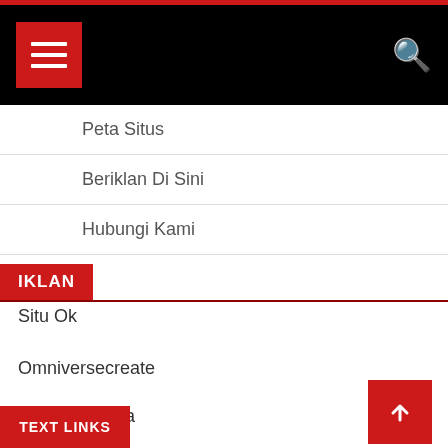Navigation header with hamburger menu and search icon
Peta Situs
Beriklan Di Sini
Hubungi Kami
IKLAN
Situ Ok
Omniversecreate
Asmaul Husna
TEXT LINKS